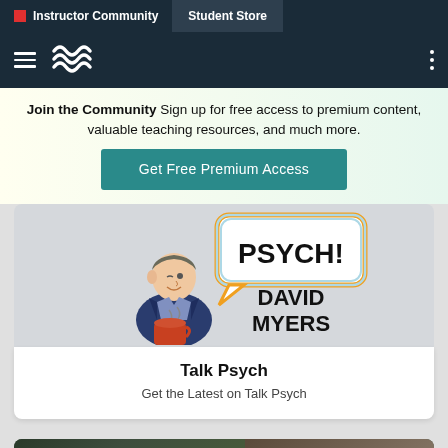Instructor Community  Student Store
[Figure (screenshot): Navigation bar with hamburger menu, wave logo, and three-dot menu on dark navy background]
Join the Community  Sign up for free access to premium content, valuable teaching resources, and much more.
Get Free Premium Access
[Figure (illustration): Cartoon illustration of a man in a suit holding a coffee mug, with a speech bubble saying PSYCH! and text DAVID MYERS]
Talk Psych
Get the Latest on Talk Psych
[Figure (photo): Partial bottom of page showing a dark background photo, partially visible]